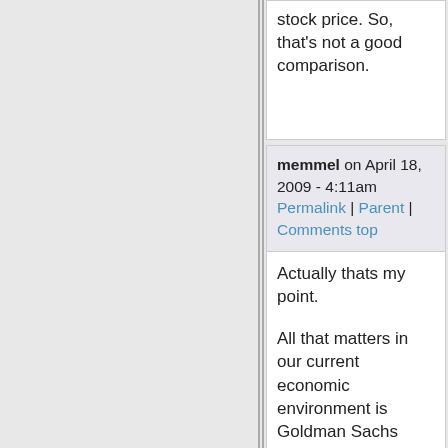stock price. So, that's not a good comparison.
memmel on April 18, 2009 - 4:11am
Permalink | Parent | Comments top
Actually thats my point.

All that matters in our current economic environment is Goldman Sachs stock price. Everything else is irrelevant well except for the bonus's they plan to give to themselves.

Given they